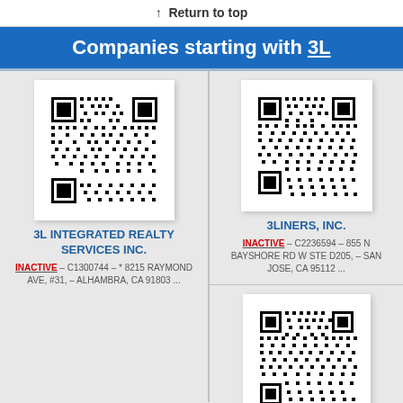↑ Return to top
Companies starting with 3L
[Figure (other): QR code for 3L Integrated Realty Services Inc.]
3L INTEGRATED REALTY SERVICES INC.
INACTIVE – C1300744 – * 8215 RAYMOND AVE, #31, – ALHAMBRA, CA 91803 ...
[Figure (other): QR code for 3Liners, Inc.]
3LINERS, INC.
INACTIVE – C2236594 – 855 N BAYSHORE RD W STE D205, – SAN JOSE, CA 95112 ...
[Figure (other): QR code for a third company starting with 3L]